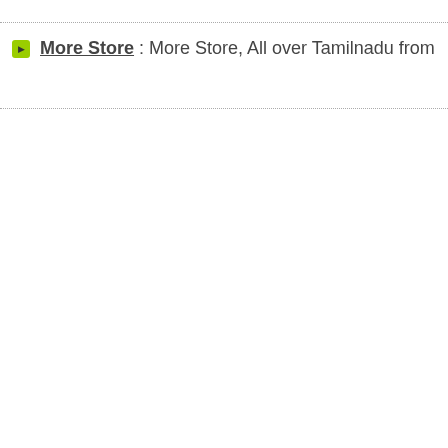More Store : More Store, All over Tamilnadu from